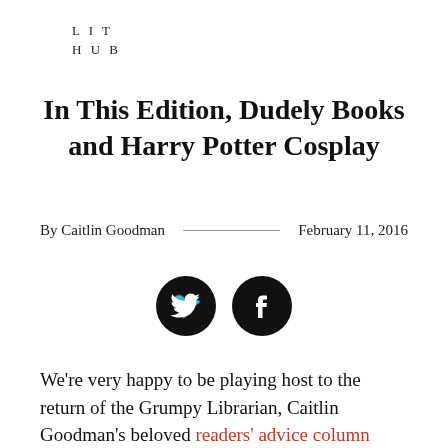LIT HUB
In This Edition, Dudely Books and Harry Potter Cosplay
By Caitlin Goodman    —————    February 11, 2016
[Figure (infographic): Two circular social media icon buttons: Twitter (bird icon) and Facebook (f icon), both black with white icons]
We're very happy to be playing host to the return of the Grumpy Librarian, Caitlin Goodman's beloved readers' advice column from the Philadelphia City Paper. To make a case that